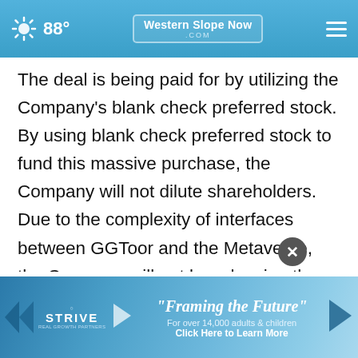88° WesternSlopeNow.com
The deal is being paid for by utilizing the Company's blank check preferred stock. By using blank check preferred stock to fund this massive purchase, the Company will not dilute shareholders. Due to the complexity of interfaces between GGToor and the Metaverse, the Company will not be releasing the name of the Metaverse or additional details until 9:00 AM EST on Tuesday, June 14, 2022. The Company needs [ad overlay] believes will b[ad overlay],
[Figure (screenshot): Advertisement banner for STRIVE 'Framing the Future' — For over 14,000 adults & children, Click Here to Learn More]